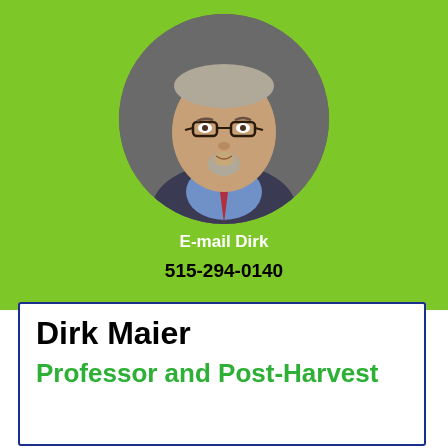[Figure (photo): Circular headshot of Dirk Maier, a middle-aged man with glasses, short graying hair, goatee, wearing a blue shirt and red tie with a dark blazer, against a gray background.]
E-mail Dirk
515-294-0140
Dirk Maier
Professor and Post-Harvest